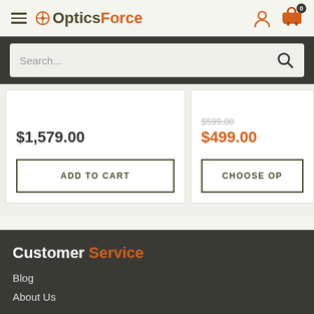OpticsForce - navigation header with hamburger menu, logo, user icon, and cart icon (0 items)
Search...
$1,579.00
$499.00
ADD TO CART
CHOOSE OP...
Customer Service | Blog | About Us